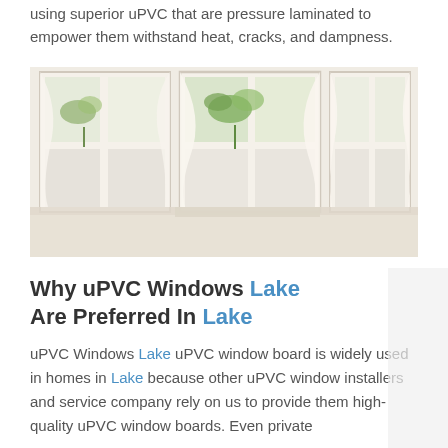using superior uPVC that are pressure laminated to empower them withstand heat, cracks, and dampness.
[Figure (photo): Photo of white uPVC windows with sheer curtains and green plants visible through the glass, bright natural light]
Why uPVC Windows Lake Are Preferred In Lake
uPVC Windows Lake uPVC window board is widely used in homes in Lake because other uPVC window installers and service company rely on us to provide them high-quality uPVC window boards. Even private